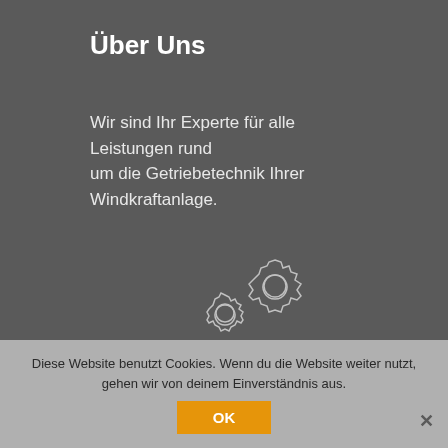Über Uns
Wir sind Ihr Experte für alle Leistungen rund um die Getriebetechnik Ihrer Windkraftanlage.
[Figure (logo): 3G GearCheck Windkraft logo with two interlocking gear outlines and bold text '3G Gear Check WINDKRAFT']
Diese Website benutzt Cookies. Wenn du die Website weiter nutzt, gehen wir von deinem Einverständnis aus.